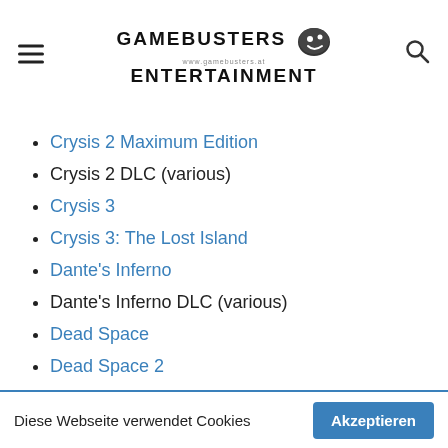GAMEBUSTERS ENTERTAINMENT
Crysis 2 Maximum Edition
Crysis 2 DLC (various)
Crysis 3
Crysis 3: The Lost Island
Dante's Inferno
Dante's Inferno DLC (various)
Dead Space
Dead Space 2
Dead Space 2 DLC (various)
Dead Space 3
Dead Space 3 DLC (various)
Diese Webseite verwendet Cookies
Akzeptieren